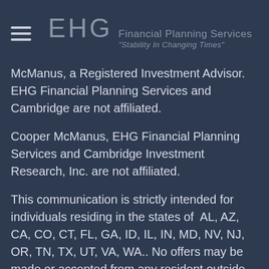EHG Financial Planning Services "Stability In Changing Times"
McManus, a Registered Investment Advisor. EHG Financial Planning Services and Cambridge are not affiliated.
Cooper McManus, EHG Financial Planning Services and Cambridge Investment Research, Inc. are not affiliated.
This communication is strictly intended for individuals residing in the states of  AL, AZ, CA, CO, CT, FL, GA, ID, IL, IN, MD, NV, NJ, OR, TN, TX, UT, VA, WA.. No offers may be made or accepted from any resident outside the specific state(s) referenced. Cambridge does not offer tax or legal advice.